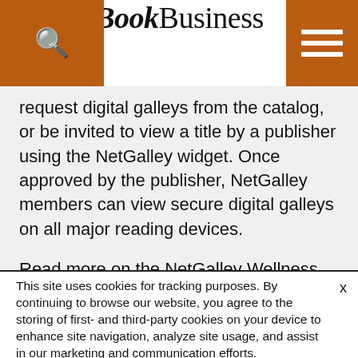BookBusiness
request digital galleys from the catalog, or be invited to view a title by a publisher using the NetGalley widget. Once approved by the publisher, NetGalley members can view secure digital galleys on all major reading devices.
Read more on the NetGalley Wellness Challenge resource page.
This site uses cookies for tracking purposes. By continuing to browse our website, you agree to the storing of first- and third-party cookies on your device to enhance site navigation, analyze site usage, and assist in our marketing and communication efforts. Privacy Policy | Terms of Use | Close